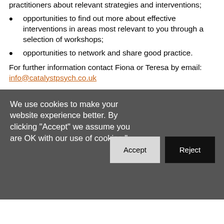practitioners about relevant strategies and interventions;
opportunities to find out more about effective interventions in areas most relevant to you through a selection of workshops;
opportunities to network and share good practice.
For further information contact Fiona or Teresa by email: info@catalystpsych.co.uk
We use cookies to make your website experience better. By clicking "Accept" we assume you are OK with our use of cookies."